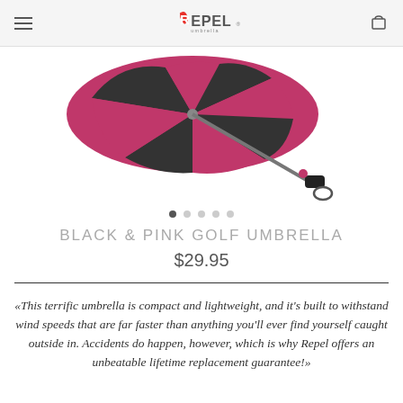REPEL Umbrella
[Figure (photo): Black and pink golf umbrella open, viewed from below at an angle, with handle visible extending to the right]
BLACK & PINK GOLF UMBRELLA
$29.95
«This terrific umbrella is compact and lightweight, and it's built to withstand wind speeds that are far faster than anything you'll ever find yourself caught outside in. Accidents do happen, however, which is why Repel offers an unbeatable lifetime replacement guarantee!»